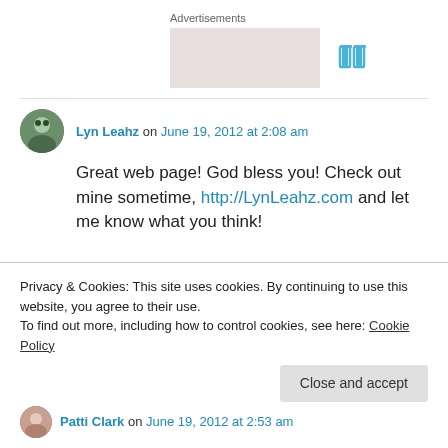Advertisements
[Figure (other): Advertisement placeholder image, pinkish-grey rectangle]
[Figure (logo): WordPress/blog logo icon in blue]
Lyn Leahz on June 19, 2012 at 2:08 am
Great web page! God bless you! Check out mine sometime, http://LynLeahz.com and let me know what you think!
Privacy & Cookies: This site uses cookies. By continuing to use this website, you agree to their use.
To find out more, including how to control cookies, see here: Cookie Policy
Close and accept
Patti Clark on June 19, 2012 at 2:53 am